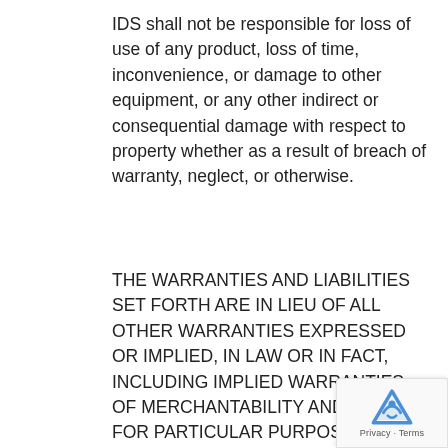IDS shall not be responsible for loss of use of any product, loss of time, inconvenience, or damage to other equipment, or any other indirect or consequential damage with respect to property whether as a result of breach of warranty, neglect, or otherwise.
THE WARRANTIES AND LIABILITIES SET FORTH ARE IN LIEU OF ALL OTHER WARRANTIES EXPRESSED OR IMPLIED, IN LAW OR IN FACT, INCLUDING IMPLIED WARRANTIES OF MERCHANTABILITY AND FITNESS FOR PARTICULAR PURPOSE. IDS total liability, regardless of nature of claim shall not exceed original purchase price of the product. If a